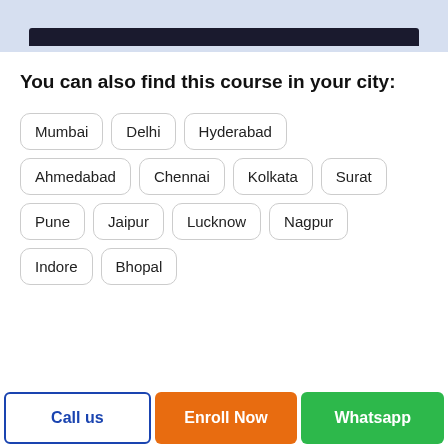[Figure (screenshot): Dark header strip at top of page, partial UI element]
You can also find this course in your city:
Mumbai
Delhi
Hyderabad
Ahmedabad
Chennai
Kolkata
Surat
Pune
Jaipur
Lucknow
Nagpur
Indore
Bhopal
Call us
Enroll Now
Whatsapp